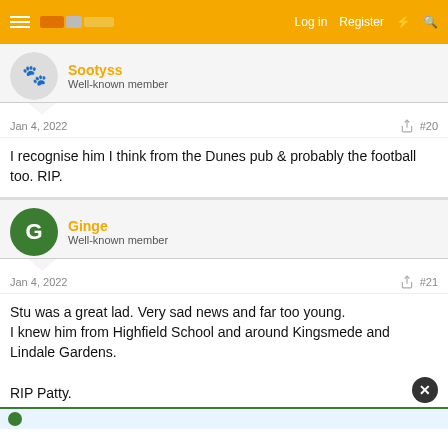Log in  Register
Sootyss
Well-known member
Jan 4, 2022  #20
I recognise him I think from the Dunes pub & probably the football too. RIP.
Ginge
Well-known member
Jan 4, 2022  #21
Stu was a great lad. Very sad news and far too young.
I knew him from Highfield School and around Kingsmede and Lindale Gardens.

RIP Patty.